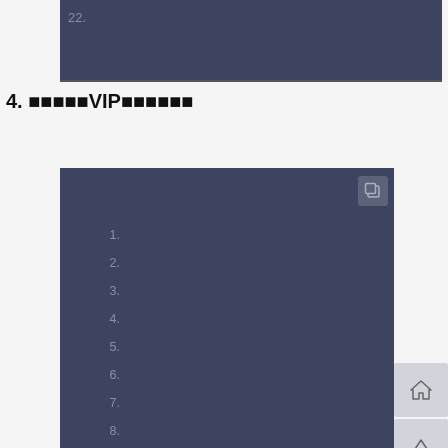[Figure (screenshot): Top dark blue-gray screenshot area with number 22 visible on left side]
4. ██████VIP████████
[Figure (screenshot): Dark blue-gray screenshot area showing a numbered list (1-15+) with sidebar navigation icons on the right including home, up arrow, comment, circle, search, bookmark, and user/QQ icons]
1.
2.
3.
4.
5.
6.
7.
8.
9.
10.
11.
12.
13.
14.
15.